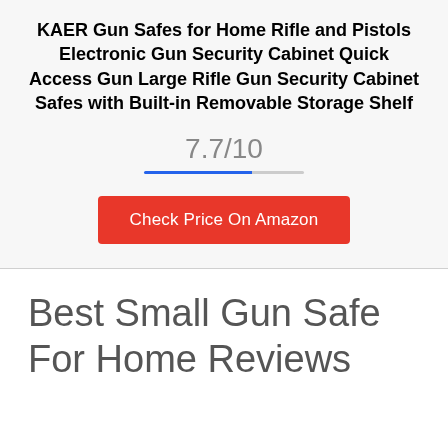KAER Gun Safes for Home Rifle and Pistols Electronic Gun Security Cabinet Quick Access Gun Large Rifle Gun Security Cabinet Safes with Built-in Removable Storage Shelf
7.7/10
Check Price On Amazon
Best Small Gun Safe For Home Reviews